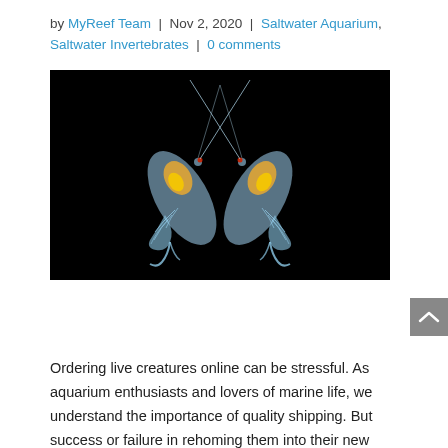by MyReef Team | Nov 2, 2020 | Saltwater Aquarium, Saltwater Invertebrates | 0 comments
[Figure (photo): Two translucent krill or copepod crustaceans photographed against a black background, facing each other symmetrically, with orange-yellow internal organs visible and long antennae extending upward.]
Ordering live creatures online can be stressful. As aquarium enthusiasts and lovers of marine life, we understand the importance of quality shipping. But success or failure in rehoming them into their new aquarium environment lies in keeping a few rules in